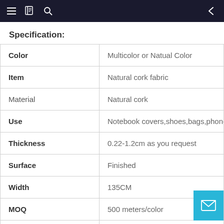Navigation bar with menu, book, search icons and back arrow
Specification:
| Property | Value |
| --- | --- |
| Color | Multicolor or Natual Color |
| Item | Natural cork fabric |
| Material | Natural cork |
| Use | Notebook covers,shoes,bags,phone ca... |
| Thickness | 0.22-1.2cm as you request |
| Surface | Finished |
| Width | 135CM |
| MOQ | 500 meters/color |